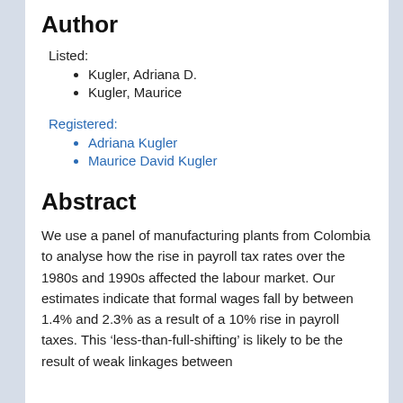Author
Listed:
Kugler, Adriana D.
Kugler, Maurice
Registered:
Adriana Kugler
Maurice David Kugler
Abstract
We use a panel of manufacturing plants from Colombia to analyse how the rise in payroll tax rates over the 1980s and 1990s affected the labour market. Our estimates indicate that formal wages fall by between 1.4% and 2.3% as a result of a 10% rise in payroll taxes. This ‘less-than-full-shifting’ is likely to be the result of weak linkages between